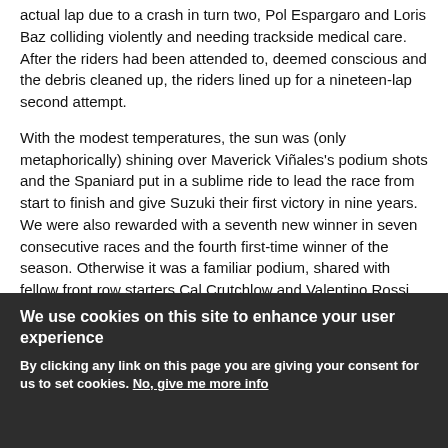actual lap due to a crash in turn two, Pol Espargaro and Loris Baz colliding violently and needing trackside medical care. After the riders had been attended to, deemed conscious and the debris cleaned up, the riders lined up for a nineteen-lap second attempt.
With the modest temperatures, the sun was (only metaphorically) shining over Maverick Viñales's podium shots and the Spaniard put in a sublime ride to lead the race from start to finish and give Suzuki their first victory in nine years. We were also rewarded with a seventh new winner in seven consecutive races and the fourth first-time winner of the season. Otherwise it was a familiar podium, shared with fellow front row starters Cal Crutchlow and Valentino Rossi, although the story of the
We use cookies on this site to enhance your user experience
By clicking any link on this page you are giving your consent for us to set cookies. No, give me more info